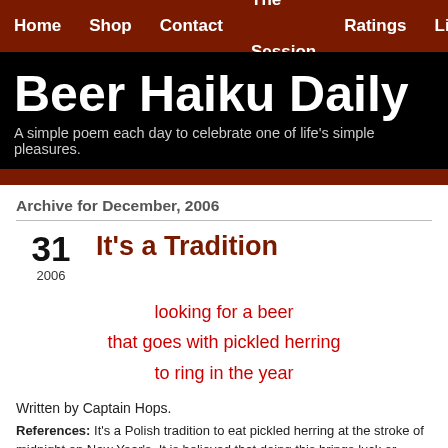Home  Shop  Contact  The Session  Ratings  Links  B
Beer Haiku Daily
A simple poem each day to celebrate one of life’s simple pleasures.
Archive for December, 2006
It’s a Tradition
31
2006
looking for a beer
that goes with pickled herring
to ring in the year
Written by Captain Hops.
References: It’s a Polish tradition to eat pickled herring at the stroke of midnight on New Year’s. It is believed that doing this brings luck or wealth in the coming year.